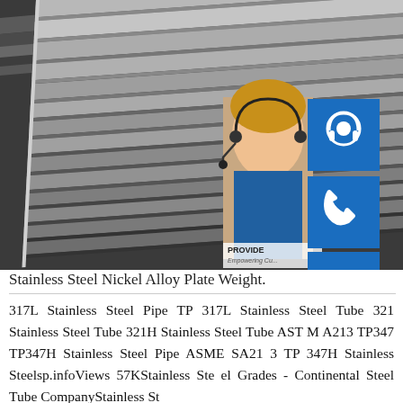[Figure (photo): Stack of stainless steel flat plates/bars photographed from an angle, showing layered metallic surfaces in gray tones. Also contains overlay customer service widgets on the right side including a 24/7 badge, headset icon, phone icon, Skype icon, a photo of a female customer service agent, a 'PROVIDE Empowering Cu...' text block, and an 'online live' button.]
Stainless Steel Nickel Alloy Plate Weight.
317L Stainless Steel Pipe TP 317L Stainless Steel Tube 321 Stainless Steel Tube 321H Stainless Steel Tube ASTM A213 TP347 TP347H Stainless Steel Pipe ASME SA213 TP 347H Stainless Steelsp.infoViews 57KStainless Steel Grades - Continental Steel Tube CompanyStainless St